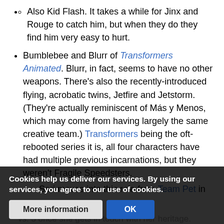Also Kid Flash. It takes a while for Jinx and Rouge to catch him, but when they do they find him very easy to hurt.
Bumblebee and Blurr of Transformers Animated. Blurr, in fact, seems to have no other weapons. There's also the recently-introduced flying, acrobatic twins, Jetfire and Jetstorm. (They're actually reminiscent of Más y Menos, which may come from having largely the same creative team.) Transformers being the oft-rebooted series it is, all four characters have had multiple previous incarnations, but they weren't Fragile Speedsters.
Sari moves into this role from Team Pet in season
Avatar: The Last Airbender: Aang. In general, airbending is the Fragile... Mighty Glass... focusing on agility and tactic rather than brute...
Cookies help us deliver our services. By using our services, you agree to our use of cookies.